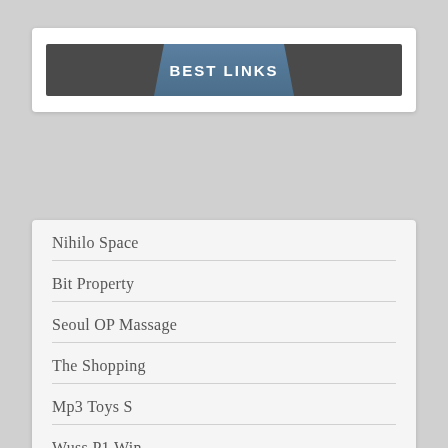BEST LINKS
Nihilo Space
Bit Property
Seoul OP Massage
The Shopping
Mp3 Toys S
Wuss P1 Win
Locus Assignments